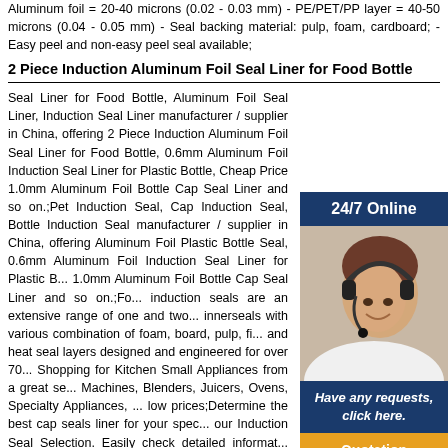Aluminum foil = 20-40 microns (0.02 - 0.03 mm) - PE/PET/PP layer = 40-50 microns (0.04 - 0.05 mm) - Seal backing material: pulp, foam, cardboard; - Easy peel and non-easy peel seal available;
2 Piece Induction Aluminum Foil Seal Liner for Food Bottle
Seal Liner for Food Bottle, Aluminum Foil Seal Liner, Induction Seal Liner manufacturer / supplier in China, offering 2 Piece Induction Aluminum Foil Seal Liner for Food Bottle, 0.6mm Aluminum Foil Induction Seal Liner for Plastic Bottle, Cheap Price 1.0mm Aluminum Foil Bottle Cap Seal Liner and so on.;Pet Induction Seal, Cap Induction Seal, Bottle Induction Seal manufacturer / supplier in China, offering Aluminum Foil Plastic Bottle Seal, 0.6mm Aluminum Foil Induction Seal Liner for Plastic B... 1.0mm Aluminum Foil Bottle Cap Seal Liner and so on.;Fo... induction seals are an extensive range of one and two... innerseals with various combination of foam, board, pulp, fi... and heat seal layers designed and engineered for over 70... Shopping for Kitchen Small Appliances from a great se... Machines, Blenders, Juicers, Ovens, Specialty Appliances, ... low prices;Determine the best cap seals liner for your spec... our Induction Seal Selection. Easily check detailed informat... pages to find what you are looking for. If you are using PE... Glass bottle or container, we certainely have suitable s... leakage problems.;Clean-peelable bottle cap inner alu... induction for hot fill dairy, US $ 0.002 - 0.02 / Piece, Half H... Composited.Source from Zhejiang Mingtian Induction Mat... .;Cap Induct Seal, Cap Induct Seal Suppliers Directory - Find ... Seal Suppliers, Manufacturers, Companies from around the World at induction sealing machine ,induction sealing liner ,bottle cap seals, Aluminum Foil;1.Cover the bottle with inductive film(the surface with aluminum foil align with the opening of the bottle).2.Put the bottle at the top of inducti...